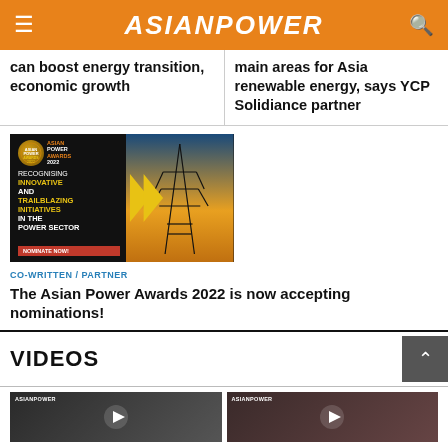ASIANPOWER
can boost energy transition, economic growth
main areas for Asia renewable energy, says YCP Solidiance partner
[Figure (photo): Asian Power Awards 2022 advertisement banner. Text: RECOGNISING INNOVATIVE AND TRAILBLAZING INITIATIVES IN THE POWER SECTOR. NOMINATE NOW!]
CO-WRITTEN / PARTNER
The Asian Power Awards 2022 is now accepting nominations!
VIDEOS
[Figure (screenshot): Asian Power video thumbnail 1 - person speaking]
[Figure (screenshot): Asian Power video thumbnail 2]